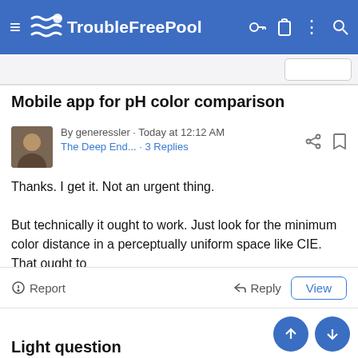TroubleFreePool
Mobile app for pH color comparison
By generessler · Today at 12:12 AM
The Deep End... · 3 Replies
Thanks. I get it. Not an urgent thing.
But technically it ought to work. Just look for the minimum color distance in a perceptually uniform space like CIE. That ought to mostly account for lighting, camera characteristics, etc. If a phone is less than about... Click to expand...
Report   ↩ Reply   View
Light question